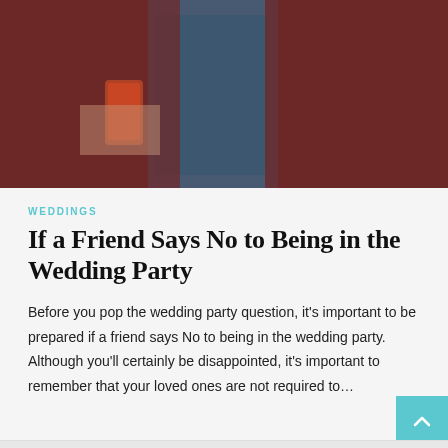[Figure (photo): Two people in dark red/maroon puffer jackets standing near a blue door. One person is looking at a smartphone.]
WEDDINGS
If a Friend Says No to Being in the Wedding Party
Before you pop the wedding party question, it's important to be prepared if a friend says No to being in the wedding party. Although you'll certainly be disappointed, it's important to remember that your loved ones are not required to…